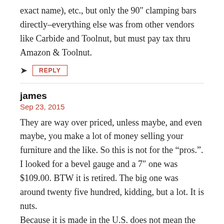exact name), etc., but only the 90" clamping bars directly–everything else was from other vendors like Carbide and Toolnut, but must pay tax thru Amazon & Toolnut.
REPLY
james
Sep 23, 2015
They are way over priced, unless maybe, and even maybe, you make a lot of money selling your furniture and the like. So this is not for the “pros.”. I looked for a bevel gauge and a 7″ one was $109.00. BTW it is retired. The big one was around twenty five hundred, kidding, but a lot. It is nuts. Because it is made in the U.S. does not mean the measuring unit should cost more than the tool and stock. When did “in the U.S.” mean I have to spend around 1000 dollars for five or six measuring items,